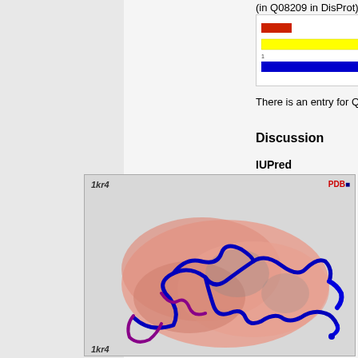There is an entry for Q08209 in DisProt.
Discussion
IUPred
[Figure (illustration): 3D protein structure visualization labeled 1kr4, showing a ribbon diagram of a protein with blue loops and helices over a salmon/pink surface representation, with PDB logo in top right corner. Bottom shows partial label 1kr4.]